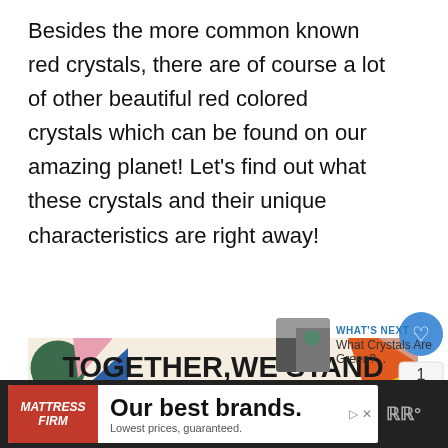Besides the more common known red crystals, there are of course a lot of other beautiful red colored crystals which can be found on our amazing planet! Let's find out what these crystals and their unique characteristics are right away!
[Figure (infographic): Advertisement banner reading 'TOGETHER, WE STAND' with colorful geometric shapes on left and right sides. Left side has dark green circle, blue triangle, pink triangle. Right side has orange and yellow triangles. Close button in top right corner.]
[Figure (infographic): What's Next widget showing a thumbnail image and text 'What Crystals Are Green?...' with label 'WHAT'S NEXT →' in blue]
[Figure (infographic): Bottom advertisement banner on dark background: Mattress Firm logo on red background, text reading 'Our best brands. Lowest prices, guaranteed.' with ad controls and weather widget.]